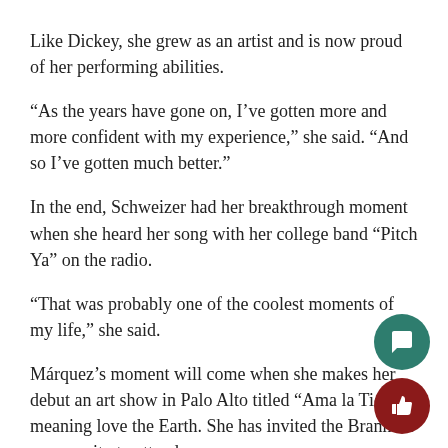Like Dickey, she grew as an artist and is now proud of her performing abilities.
“As the years have gone on, I’ve gotten more and more confident with my experience,” she said. “And so I’ve gotten much better.”
In the end, Schweizer had her breakthrough moment when she heard her song with her college band “Pitch Ya” on the radio.
“That was probably one of the coolest moments of my life,” she said.
Márquez’s moment will come when she makes her debut an art show in Palo Alto titled “Ama la Tierra,” meaning love the Earth. She has invited the Branham community to attend.